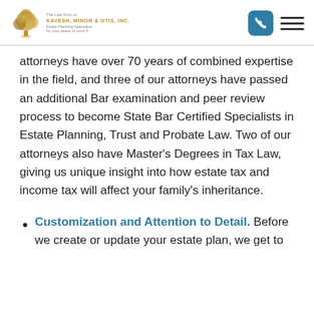The Law Firm of KAVESH, MINOR & OTIS, INC. Estate Planning Specialists for your peace of mind
attorneys have over 70 years of combined expertise in the field, and three of our attorneys have passed an additional Bar examination and peer review process to become State Bar Certified Specialists in Estate Planning, Trust and Probate Law. Two of our attorneys also have Master's Degrees in Tax Law, giving us unique insight into how estate tax and income tax will affect your family's inheritance.
Customization and Attention to Detail. Before we create or update your estate plan, we get to